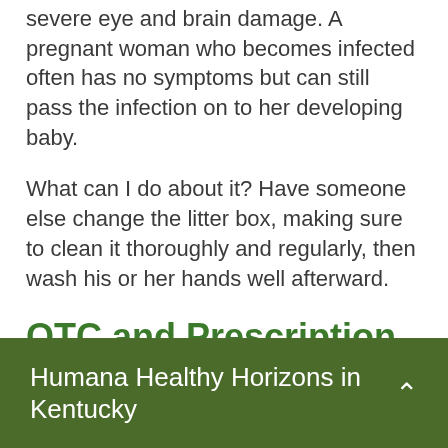severe eye and brain damage. A pregnant woman who becomes infected often has no symptoms but can still pass the infection on to her developing baby.
What can I do about it? Have someone else change the litter box, making sure to clean it thoroughly and regularly, then wash his or her hands well afterward.
OTC and Prescription Medicines
Humana Healthy Horizons in Kentucky